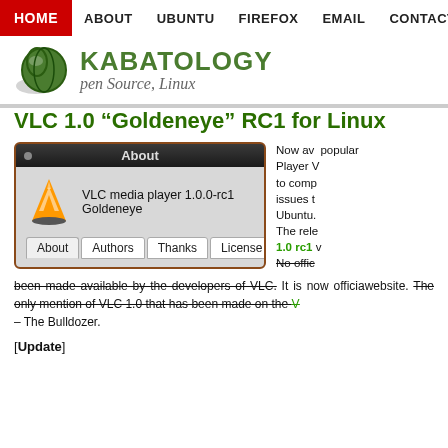HOME  ABOUT  UBUNTU  FIREFOX  EMAIL  CONTACT  RSS
[Figure (logo): Kabatology Open Source, Linux logo with green globe icon]
VLC 1.0 “Goldeneye” RC1 for Linux
[Figure (screenshot): VLC media player 1.0.0-rc1 Goldeneye About dialog showing VLC cone logo with tabs: About, Authors, Thanks, License]
Now av... popular... Player V... to comp... issues t... Ubuntu. The rele... 1.0 rc1 v... No offic...
been made available by the developers of VLC. It is now officia... website. The only mention of VLC 1.0 that has been made on the V... – The Bulldozer.
[Update]